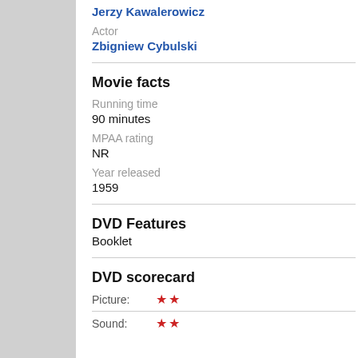Jerzy Kawalerowicz
Actor
Zbigniew Cybulski
Movie facts
Running time
90 minutes
MPAA rating
NR
Year released
1959
DVD Features
Booklet
DVD scorecard
Picture: ★★
Sound: ★★